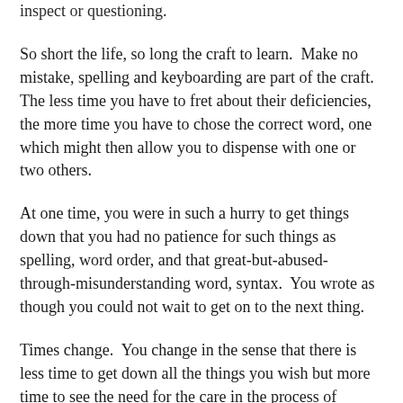inspect or questioning.
So short the life, so long the craft to learn.  Make no mistake, spelling and keyboarding are part of the craft.  The less time you have to fret about their deficiencies, the more time you have to chose the correct word, one which might then allow you to dispense with one or two others.
At one time, you were in such a hurry to get things down that you had no patience for such things as spelling, word order, and that great-but-abused-through-misunderstanding word, syntax.  You wrote as though you could not wait to get on to the next thing.
Times change.  You change in the sense that there is less time to get down all the things you wish but more time to see the need for the care in the process of making sure.
A completed manuscript, revised, edited, then proofed is no small thing to you now.  It may well be a small thing to